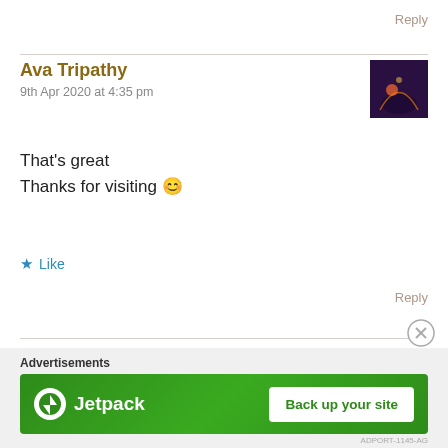Reply
Ava Tripathy
9th Apr 2020 at 4:35 pm
That's great
Thanks for visiting 😊
Like
Reply
Advertisements
[Figure (screenshot): Jetpack advertisement banner with 'Back up your site' button on green background]